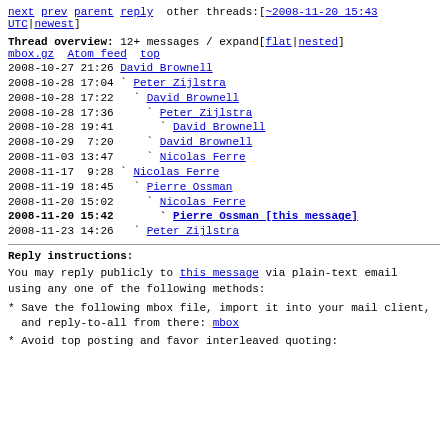next prev parent reply  other threads:[~2008-11-20 15:43 UTC|newest]
Thread overview: 12+ messages / expand[flat|nested]
mbox.gz  Atom feed  top
2008-10-27 21:26  David Brownell
2008-10-28 17:04  ` Peter Zijlstra
2008-10-28 17:22    ` David Brownell
2008-10-28 17:36      ` Peter Zijlstra
2008-10-28 19:41        ` David Brownell
2008-10-29  7:20      ` David Brownell
2008-11-03 13:47      ` Nicolas Ferre
2008-11-17  9:28  ` Nicolas Ferre
2008-11-19 18:45    ` Pierre Ossman
2008-11-20 15:02      ` Nicolas Ferre
2008-11-20 15:42        ` Pierre Ossman [this message]
2008-11-23 14:26    ` Peter Zijlstra
Reply instructions:
You may reply publicly to this message via plain-text email
using any one of the following methods:
* Save the following mbox file, import it into your mail client,
  and reply-to-all from there: mbox
* Avoid top posting and favor interleaved quoting: